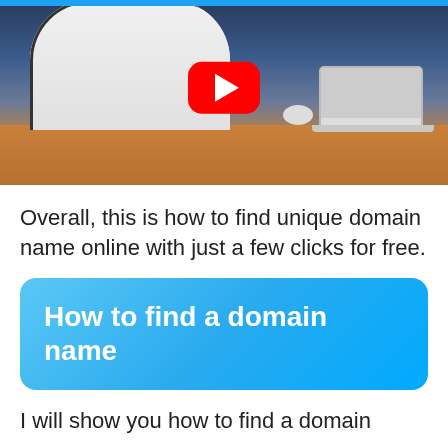[Figure (photo): A woman in a white jacket sitting at a desk with a laptop, celebrating, with a YouTube play button overlay on the image. Sunset city skyline background.]
Overall, this is how to find unique domain name online with just a few clicks for free.
How to find a domain name
I will show you how to find a domain name for your online business with